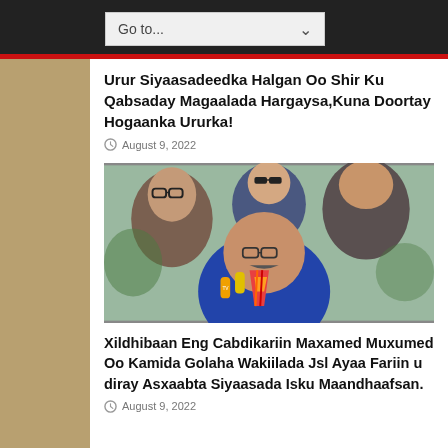Go to...
Urur Siyaasadeedka Halgan Oo Shir Ku Qabsaday Magaalada Hargaysa,Kuna Doortay Hogaanka Ururka!
August 9, 2022
[Figure (photo): Four men photographed together; one in foreground wearing glasses and colorful tie holding microphones; others visible in background]
Xildhibaan Eng Cabdikariin Maxamed Muxumed Oo Kamida Golaha Wakiilada Jsl Ayaa Fariin u diray Asxaabta Siyaasada Isku Maandhaafsan.
August 9, 2022